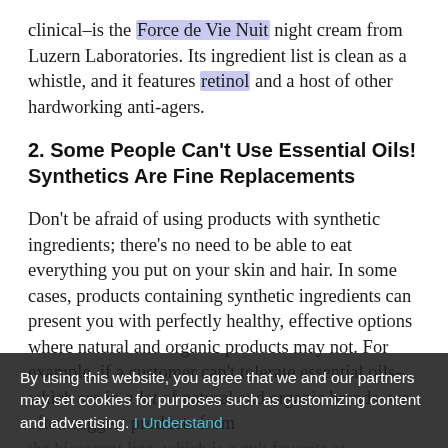clinical–is the Force de Vie Nuit night cream from Luzern Laboratories. Its ingredient list is clean as a whistle, and it features retinol and a host of other hardworking anti-agers.
2. Some People Can't Use Essential Oils! Synthetics Are Fine Replacements
Don't be afraid of using products with synthetic ingredients; there's no need to be able to eat everything you put on your skin and hair. In some cases, products containing synthetic ingredients can present you with perfectly healthy, effective options where natural and organic products may not. For example, if a customer can't tolerate essential oils–which are in a lot of natural and organic brands–we often suggest products from the Biosecept line, which is a cult favorite at (city) hanna in Paris (Biostrand is particularly wonderful) and from the Pleadening, which is one of
By using this website, you agree that we and our partners may set cookies for purposes such as customizing content and advertising. I Understand